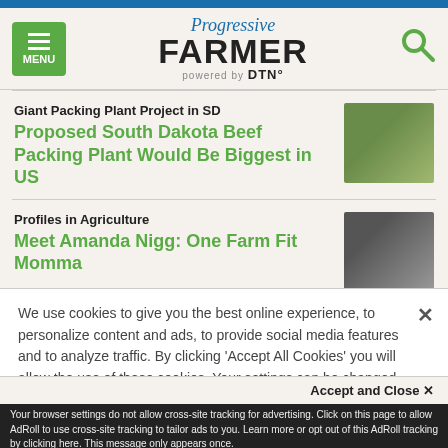Progressive FARMER powered by DTN
Giant Packing Plant Project in SD
Proposed South Dakota Beef Packing Plant Would Be Biggest in US
[Figure (photo): Aerial or field view related to beef packing plant]
Profiles in Agriculture
Meet Amanda Nigg: One Farm Fit Momma
[Figure (photo): Person working on farm]
We use cookies to give you the best online experience, to personalize content and ads, to provide social media features and to analyze traffic. By clicking 'Accept All Cookies' you will allow the use of these cookies. Your settings can be changed, including withdrawing your consent at any time, by clicking 'Cookie Settings'. Find out more on how we and third parties use cookies in our Cookie Policy
Accept and Close ×
Your browser settings do not allow cross-site tracking for advertising. Click on this page to allow AdRoll to use cross-site tracking to tailor ads to you. Learn more or opt out of this AdRoll tracking by clicking here. This message only appears once.